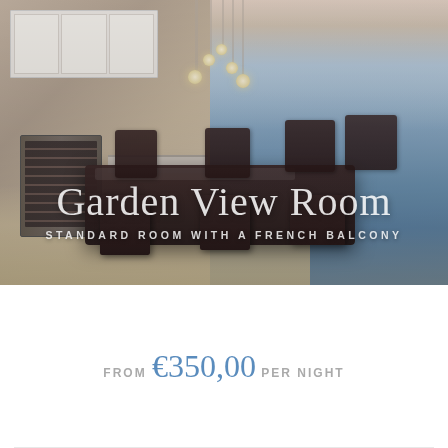[Figure (photo): Interior photo of a luxury hotel room/dining area with dark wicker chairs around a glass-topped dining table, with a kitchen area visible on the left featuring white cabinets and a wine fridge, and a panoramic ocean view with sunset sky visible through floor-to-ceiling glass windows on the right. Pendant lights hang from the ceiling above the table.]
Garden View Room
STANDARD ROOM WITH A FRENCH BALCONY
FROM €350,00 PER NIGHT